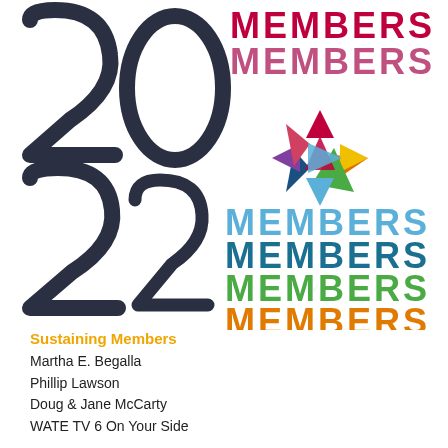[Figure (logo): 2022 Members logo with colorful pinwheel/star graphic and stacked MEMBERS text in multiple colors (red/pink, light blue, dark blue/teal, green, orange)]
Sustaining Members
Martha E. Begalla
Phillip Lawson
Doug & Jane McCarty
WATE TV 6 On Your Side